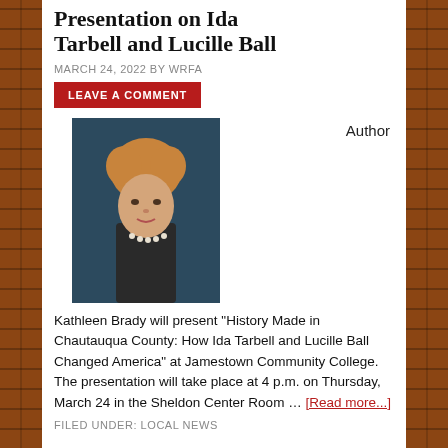Presentation on Ida Tarbell and Lucille Ball
MARCH 24, 2022 BY WRFA
LEAVE A COMMENT
[Figure (photo): Portrait photo of author Kathleen Brady, a woman with short curly reddish-blonde hair wearing a dark jacket and pearl necklace, against a dark blue background]
Author
Kathleen Brady will present “History Made in Chautauqua County: How Ida Tarbell and Lucille Ball Changed America” at Jamestown Community College. The presentation will take place at 4 p.m. on Thursday, March 24 in the Sheldon Center Room … [Read more...]
FILED UNDER: LOCAL NEWS